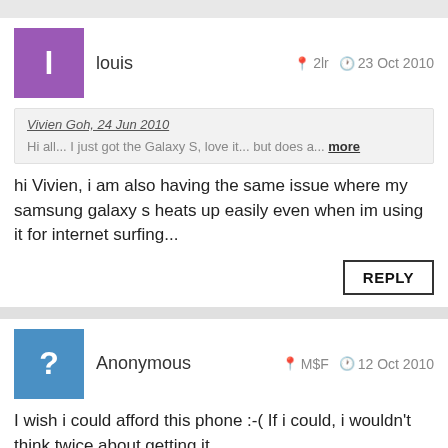louis   2lr   23 Oct 2010
Vivien Goh, 24 Jun 2010
Hi all... I just got the Galaxy S, love it... but does a... more
hi Vivien, i am also having the same issue where my samsung galaxy s heats up easily even when im using it for internet surfing...
REPLY
Anonymous   M$F   12 Oct 2010
I wish i could afford this phone :-( If i could, i wouldn't think twice about getting it